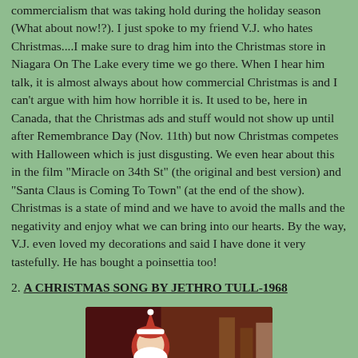commercialism that was taking hold during the holiday season (What about now!?). I just spoke to my friend V.J. who hates Christmas....I make sure to drag him into the Christmas store in Niagara On The Lake every time we go there. When I hear him talk, it is almost always about how commercial Christmas is and I can't argue with him how horrible it is. It used to be, here in Canada, that the Christmas ads and stuff would not show up until after Remembrance Day (Nov. 11th) but now Christmas competes with Halloween which is just disgusting. We even hear about this in the film "Miracle on 34th St" (the original and best version) and "Santa Claus is Coming To Town" (at the end of the show). Christmas is a state of mind and we have to avoid the malls and the negativity and enjoy what we can bring into our hearts. By the way, V.J. even loved my decorations and said I have done it very tastefully. He has bought a poinsettia too!
2. A CHRISTMAS SONG BY JETHRO TULL-1968
[Figure (screenshot): YouTube video thumbnail showing Jethro Tull - Christ... with Santa Claus figure visible, dark reddish background, video title bar at bottom with circular channel thumbnail]